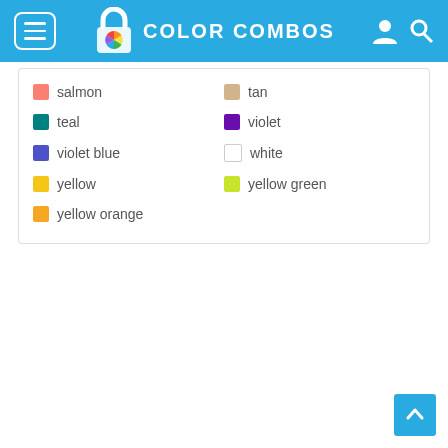COLOR COMBOS
salmon
tan
teal
violet
violet blue
white
yellow
yellow green
yellow orange